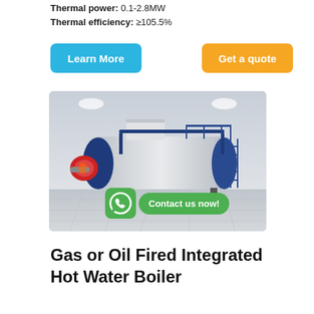Thermal power: 0.1-2.8MW
Thermal efficiency: ≥105.5%
Learn More
Get a quote
[Figure (photo): Gas or oil fired integrated hot water boiler, horizontal cylindrical body with blue frame, red burner on left end, metal walkway on top, shown in industrial hall setting. WhatsApp contact button overlay at bottom.]
Gas or Oil Fired Integrated Hot Water Boiler